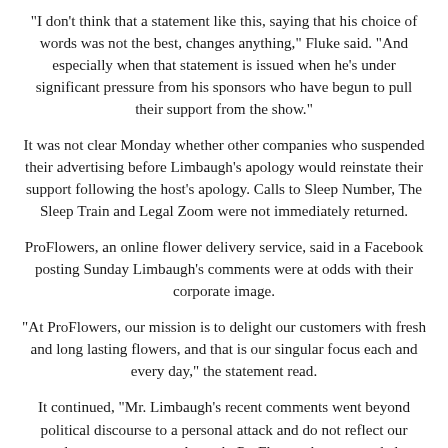"I don't think that a statement like this, saying that his choice of words was not the best, changes anything," Fluke said. "And especially when that statement is issued when he's under significant pressure from his sponsors who have begun to pull their support from the show."
It was not clear Monday whether other companies who suspended their advertising before Limbaugh's apology would reinstate their support following the host's apology. Calls to Sleep Number, The Sleep Train and Legal Zoom were not immediately returned.
ProFlowers, an online flower delivery service, said in a Facebook posting Sunday Limbaugh's comments were at odds with their corporate image.
"At ProFlowers, our mission is to delight our customers with fresh and long lasting flowers, and that is our singular focus each and every day," the statement read.
It continued, "Mr. Limbaugh's recent comments went beyond political discourse to a personal attack and do not reflect our values as a company. As such, ProFlowers has suspended advertising on The Rush Limbaugh radio program."
On Monday, Pentagon press secretary George Little said the Defense Department has been monitoring the situation. Rusk...